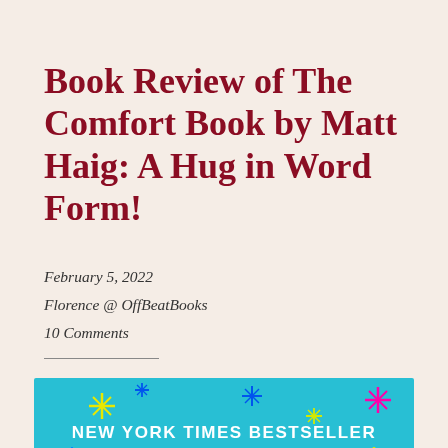Book Review of The Comfort Book by Matt Haig: A Hug in Word Form!
February 5, 2022
Florence @ OffBeatBooks
10 Comments
[Figure (photo): Book cover of The Comfort Book by Matt Haig, showing a teal/cyan background with colorful sparkle stars and the text NEW YORK TIMES BESTSELLER in white, with the beginning of large white letters visible at the bottom.]